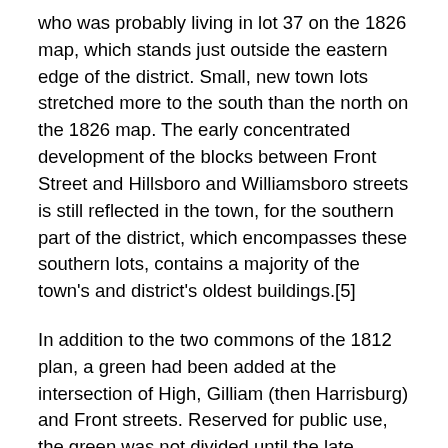who was probably living in lot 37 on the 1826 map, which stands just outside the eastern edge of the district. Small, new town lots stretched more to the south than the north on the 1826 map. The early concentrated development of the blocks between Front Street and Hillsboro and Williamsboro streets is still reflected in the town, for the southern part of the district, which encompasses these southern lots, contains a majority of the town's and district's oldest buildings.[5]
In addition to the two commons of the 1812 plan, a green had been added at the intersection of High, Gilliam (then Harrisburg) and Front streets. Reserved for public use, the green was not divided until the late 1870s. The map of 1826 indicates the major residences existing in Oxford at the time. Only one of these indicated dwellings still stands in Oxford, the Bryant-Kingsbury House. An imposing, seven-bay,